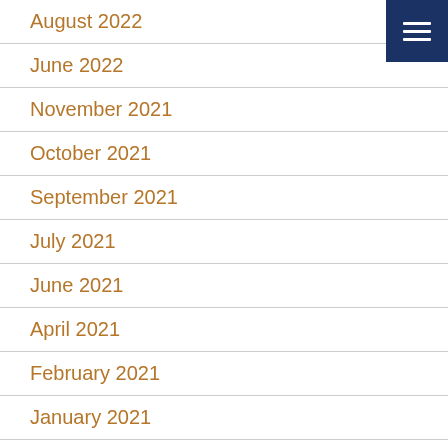August 2022
June 2022
November 2021
October 2021
September 2021
July 2021
June 2021
April 2021
February 2021
January 2021
December 2020
June 2020